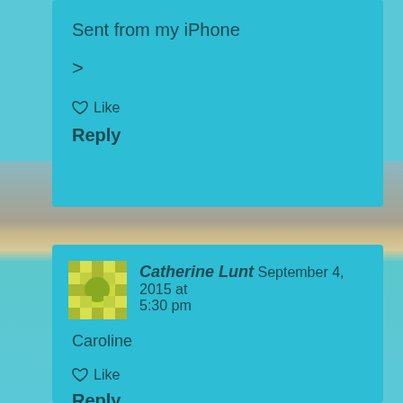[Figure (screenshot): Beach/ocean background image visible between two comment cards]
Sent from my iPhone
>
Like
Reply
Catherine Lunt  September 4, 2015 at 5:30 pm
Caroline
Like
Reply